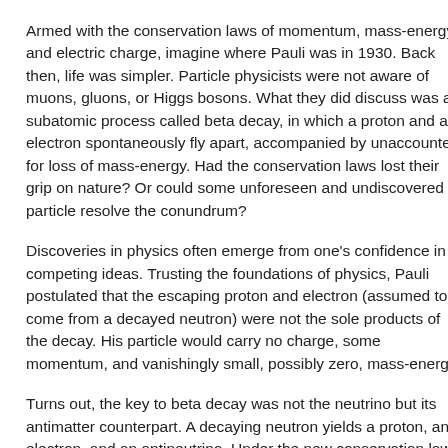Armed with the conservation laws of momentum, mass-energy, and electric charge, imagine where Pauli was in 1930. Back then, life was simpler. Particle physicists were not aware of muons, gluons, or Higgs bosons. What they did discuss was a subatomic process called beta decay, in which a proton and an electron spontaneously fly apart, accompanied by unaccounted-for loss of mass-energy. Had the conservation laws lost their grip on nature? Or could some unforeseen and undiscovered particle resolve the conundrum?
Discoveries in physics often emerge from one's confidence in competing ideas. Trusting the foundations of physics, Pauli postulated that the escaping proton and electron (assumed to come from a decayed neutron) were not the sole products of the decay. His particle would carry no charge, some momentum, and vanishingly small, possibly zero, mass-energy.
Turns out, the key to beta decay was not the neutrino but its antimatter counterpart. A decaying neutron yields a proton, an electron, and an antineutrino. Under the new conservation laws, unknown to Pauli and his contemporaries, that's just what is needed. These laws decree that no process can change the net numbers of heavy particles (baryons) or light particles (leptons). If your experiment starts with one baryon (a proton or a neutron), it must end with one. That means a neutron can morph into a proton. And if it starts with zero leptons (as a neutron has), it must end with zero leptons.
Wait a minute. Beta decay starts with zero leptons but ends with two leptons: an electron and an antineutrino.